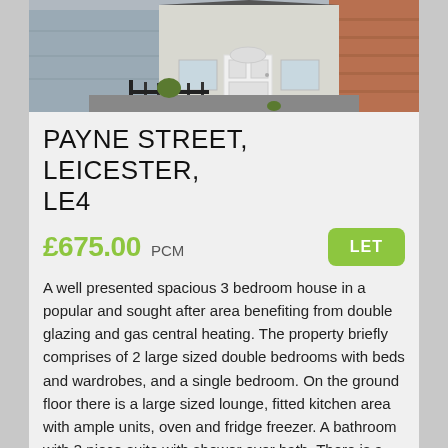[Figure (photo): Exterior photo of a terraced house with a white front door, black metal fence, and a driveway. Blue/grey rendered facade visible on the left, brick wall on the right.]
PAYNE STREET, LEICESTER, LE4
£675.00 PCM   LET
A well presented spacious 3 bedroom house in a popular and sought after area benefiting from double glazing and gas central heating. The property briefly comprises of 2 large sized double bedrooms with beds and wardrobes, and a single bedroom. On the ground floor there is a large sized lounge, fitted kitchen area with ample units, oven and fridge freezer. A bathroom with 3 piece suite with shower over bath. There is a rear garden and off road parking space. Close to Many